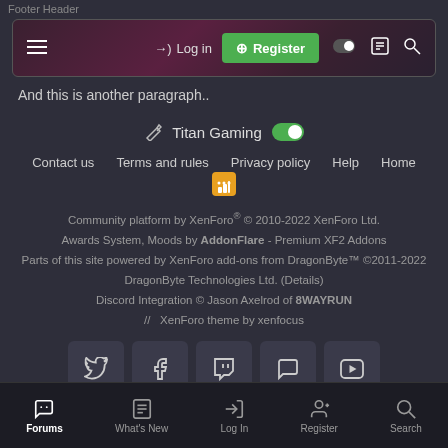Footer Header
[Figure (screenshot): Top navigation bar with hamburger menu, Log in link, green Register button, toggle, document icon, and search icon on a dark purple/maroon gradient background]
And this is another paragraph..
Titan Gaming [toggle] | Contact us | Terms and rules | Privacy policy | Help | Home | RSS | Community platform by XenForo® © 2010-2022 XenForo Ltd. | Awards System, Moods by AddonFlare - Premium XF2 Addons | Parts of this site powered by XenForo add-ons from DragonByte™ ©2011-2022 DragonByte Technologies Ltd. (Details) | Discord Integration © Jason Axelrod of 8WAYRUN | // XenForo theme by xenfocus | Social icons: Twitter, Facebook, Twitch, Discord, YouTube | Bottom nav: Forums, What's New, Log In, Register, Search